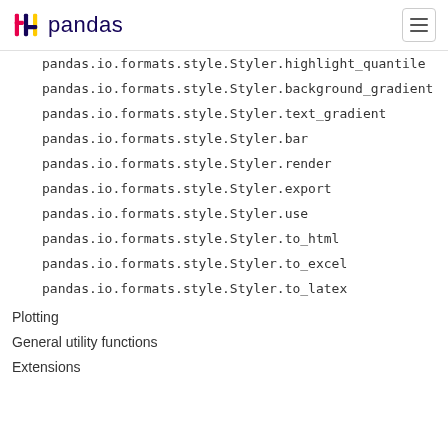pandas
pandas.io.formats.style.Styler.highlight_quantile
pandas.io.formats.style.Styler.background_gradient
pandas.io.formats.style.Styler.text_gradient
pandas.io.formats.style.Styler.bar
pandas.io.formats.style.Styler.render
pandas.io.formats.style.Styler.export
pandas.io.formats.style.Styler.use
pandas.io.formats.style.Styler.to_html
pandas.io.formats.style.Styler.to_excel
pandas.io.formats.style.Styler.to_latex
Plotting
General utility functions
Extensions